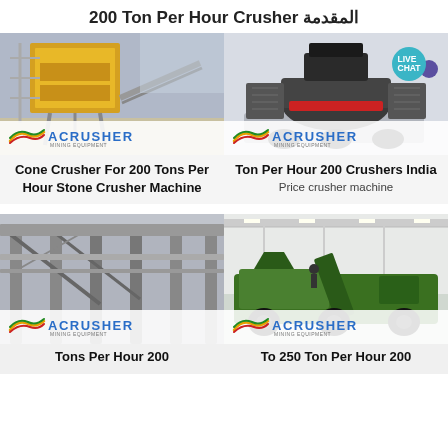200 Ton Per Hour Crusher المقدمة
[Figure (photo): Industrial crane/screening plant machinery, yellow structure, ACRUSHER mining equipment logo overlay]
[Figure (photo): Cone crusher machine dark grey, ACRUSHER mining equipment logo overlay, LIVE CHAT badge]
Cone Crusher For 200 Tons Per Hour Stone Crusher Machine
Ton Per Hour 200 Crushers India
Price crusher machine
[Figure (photo): Industrial factory/building construction, ACRUSHER mining equipment logo overlay]
[Figure (photo): Green mobile crusher machine in factory hall, ACRUSHER mining equipment logo overlay]
Tons Per Hour 200
To 250 Ton Per Hour 200